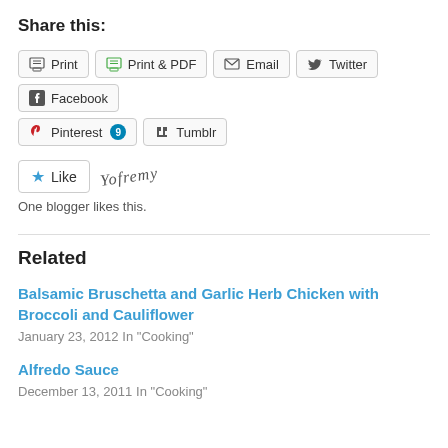Share this:
[Figure (other): Share buttons row 1: Print, Print & PDF, Email, Twitter, Facebook]
[Figure (other): Share buttons row 2: Pinterest (9), Tumblr]
[Figure (other): Like button with star icon and blogger signature avatar]
One blogger likes this.
Related
Balsamic Bruschetta and Garlic Herb Chicken with Broccoli and Cauliflower
January 23, 2012
In "Cooking"
Alfredo Sauce
December 13, 2011
In "Cooking"